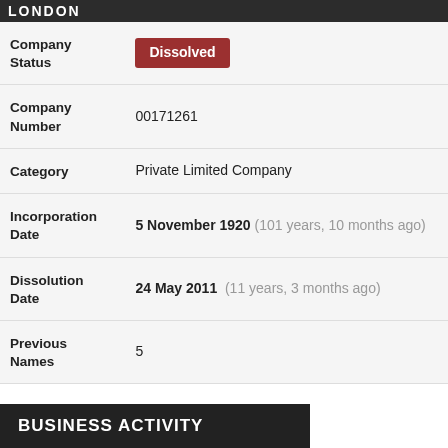LONDON
| Field | Value |
| --- | --- |
| Company Status | Dissolved |
| Company Number | 00171261 |
| Category | Private Limited Company |
| Incorporation Date | 5 November 1920 (101 years, 10 months ago) |
| Dissolution Date | 24 May 2011  (11 years, 3 months ago) |
| Previous Names | 5 |
BUSINESS ACTIVITY